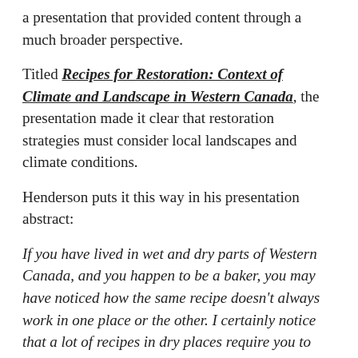a presentation that provided content through a much broader perspective.
Titled Recipes for Restoration: Context of Climate and Landscape in Western Canada, the presentation made it clear that restoration strategies must consider local landscapes and climate conditions.
Henderson puts it this way in his presentation abstract:
If you have lived in wet and dry parts of Western Canada, and you happen to be a baker, you may have noticed how the same recipe doesn't always work in one place or the other. I certainly notice that a lot of recipes in dry places require you to add a quarter cup of water not otherwise called for, because the recipe-book author lived in a wet place where their flour, baking soda, and other ingredients had absorbed moisture from the air while